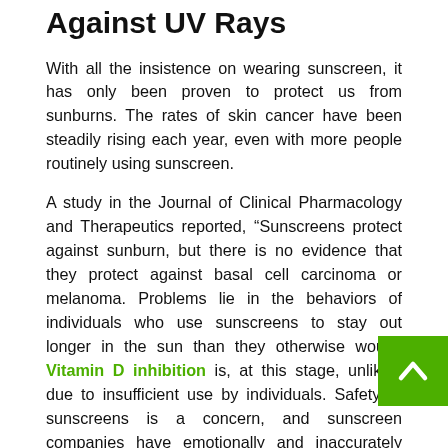Against UV Rays
With all the insistence on wearing sunscreen, it has only been proven to protect us from sunburns. The rates of skin cancer have been steadily rising each year, even with more people routinely using sunscreen.
A study in the Journal of Clinical Pharmacology and Therapeutics reported, “Sunscreens protect against sunburn, but there is no evidence that they protect against basal cell carcinoma or melanoma. Problems lie in the behaviors of individuals who use sunscreens to stay out longer in the sun than they otherwise would. Vitamin D inhibition is, at this stage, unlikely due to insufficient use by individuals. Safety of sunscreens is a concern, and sunscreen companies have emotionally and inaccurately promoted the use of sunscreens.”
We cannot rely on sunscreen alone to protect our skin from UV rays, premature aging, and skin cancer. If you know you’ll be out in the sun for a few hours, come prepared with sun-protective clothing and seek shade when you can.